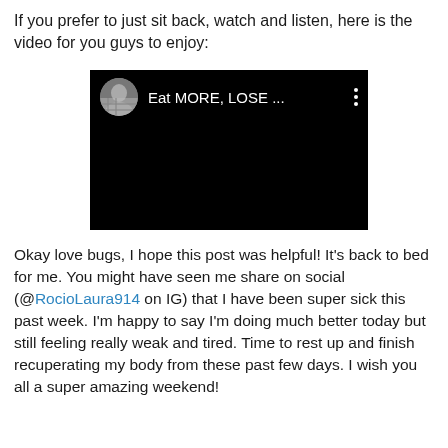If you prefer to just sit back, watch and listen, here is the video for you guys to enjoy:
[Figure (screenshot): Embedded video thumbnail with black background showing a circular avatar photo of a person and text 'Eat MORE, LOSE ...' with a three-dot menu icon]
Okay love bugs, I hope this post was helpful! It's back to bed for me. You might have seen me share on social (@RocioLaura914 on IG) that I have been super sick this past week. I'm happy to say I'm doing much better today but still feeling really weak and tired. Time to rest up and finish recuperating my body from these past few days. I wish you all a super amazing weekend!